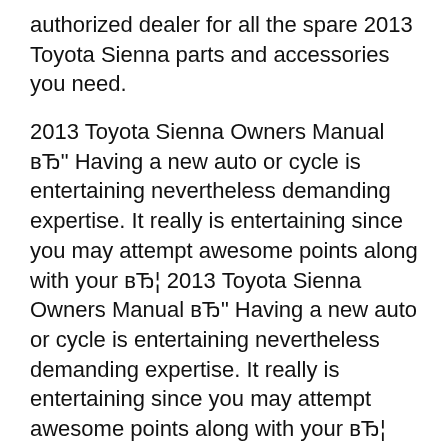authorized dealer for all the spare 2013 Toyota Sienna parts and accessories you need.
2013 Toyota Sienna Owners Manual вЂ" Having a new auto or cycle is entertaining nevertheless demanding expertise. It really is entertaining since you may attempt awesome points along with your вЂ¦ 2013 Toyota Sienna Owners Manual вЂ" Having a new auto or cycle is entertaining nevertheless demanding expertise. It really is entertaining since you may attempt awesome points along with your вЂ¦
07/05/2013В В· Hey guys, this is Shane Terrell, and I'm with Tyler Shuttle, and he's going to show you how to hook up your Bluetooth on a 2013 Toyota Sienna. Hey, Tyler Hi, guys, this is